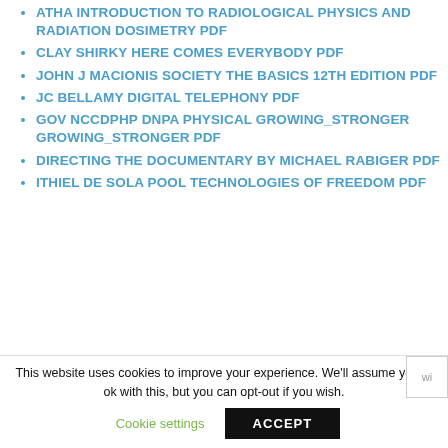ATHA INTRODUCTION TO RADIOLOGICAL PHYSICS AND RADIATION DOSIMETRY PDF
CLAY SHIRKY HERE COMES EVERYBODY PDF
JOHN J MACIONIS SOCIETY THE BASICS 12TH EDITION PDF
JC BELLAMY DIGITAL TELEPHONY PDF
GOV NCCDPHP DNPA PHYSICAL GROWING_STRONGER GROWING_STRONGER PDF
DIRECTING THE DOCUMENTARY BY MICHAEL RABIGER PDF
ITHIEL DE SOLA POOL TECHNOLOGIES OF FREEDOM PDF
This website uses cookies to improve your experience. We'll assume you're ok with this, but you can opt-out if you wish.
Cookie settings | ACCEPT